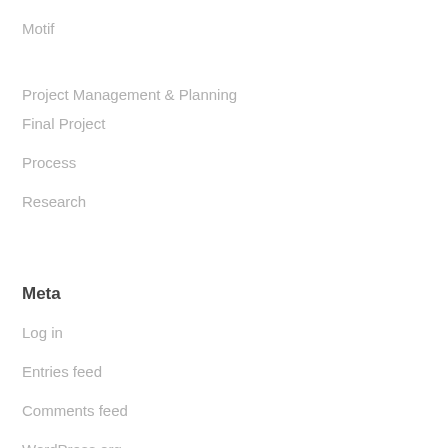Motif
Project Management & Planning
Final Project
Process
Research
Meta
Log in
Entries feed
Comments feed
WordPress.org
Hello
Buddha Tooth Relic Temple and Museum (1) Buddhist (1) JM1 (1)